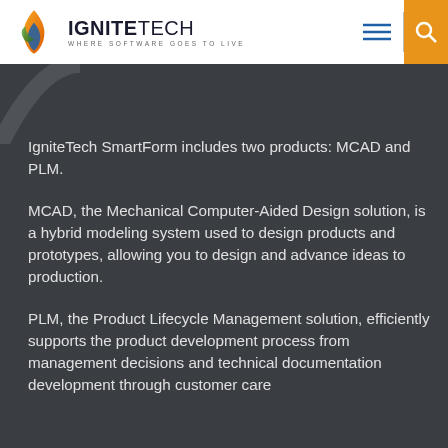[Figure (logo): IgniteTech logo with flame icon and tagline WHERE SOFTWARE GOES TO LIVE]
IgniteTech SmartForm includes two products: MCAD and PLM.
MCAD, the Mechanical Computer-Aided Design solution, is a hybrid modeling system used to design products and prototypes, allowing you to design and advance ideas to production.
PLM, the Product Lifecycle Management solution, efficiently supports the product development process from management decisions and technical documentation development through customer care